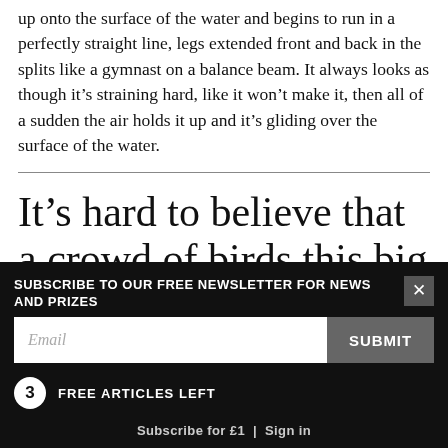up onto the surface of the water and begins to run in a perfectly straight line, legs extended front and back in the splits like a gymnast on a balance beam. It always looks as though it’s straining hard, like it won’t make it, then all of a sudden the air holds it up and it’s gliding over the surface of the water.
It’s hard to believe that a crowd of birds this big ever went unnoticed. But seabirds
SUBSCRIBE TO OUR FREE NEWSLETTER FOR NEWS AND PRIZES
Email
SUBMIT
3 FREE ARTICLES LEFT
Subscribe for £1 | Sign in